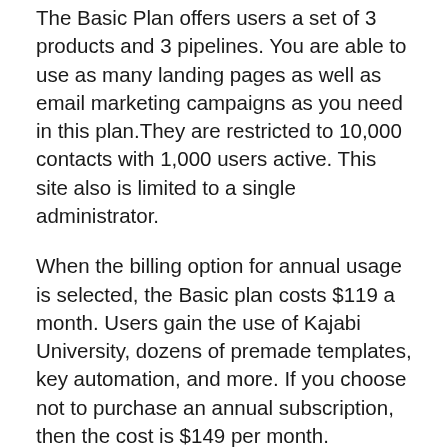The Basic Plan offers users a set of 3 products and 3 pipelines. You are able to use as many landing pages as well as email marketing campaigns as you need in this plan.They are restricted to 10,000 contacts with 1,000 users active. This site also is limited to a single administrator.
When the billing option for annual usage is selected, the Basic plan costs $119 a month. Users gain the use of Kajabi University, dozens of premade templates, key automation, and more. If you choose not to purchase an annual subscription, then the cost is $149 per month.
Kajabi Growth